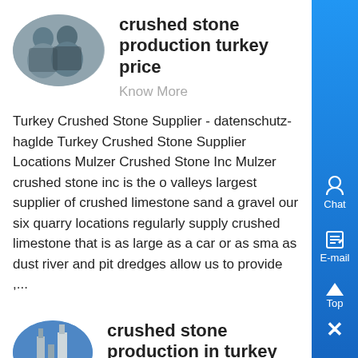crushed stone production turkey price
Know More
Turkey Crushed Stone Supplier - datenschutz-haglde Turkey Crushed Stone Supplier Locations Mulzer Crushed Stone Inc Mulzer crushed stone inc is the o valleys largest supplier of crushed limestone sand a gravel our six quarry locations regularly supply crushed limestone that is as large as a car or as sma as dust river and pit dredges allow us to provide ,...
crushed stone production in turkey prise crushed stone
Know More
crushed stone production in turkey prise crushed